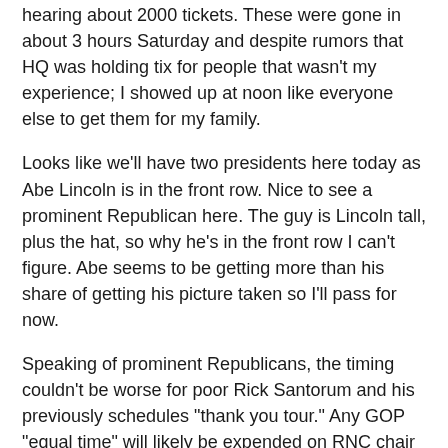hearing about 2000 tickets. These were gone in about 3 hours Saturday and despite rumors that HQ was holding tix for people that wasn't my experience; I showed up at noon like everyone else to get them for my family.
Looks like we'll have two presidents here today as Abe Lincoln is in the front row. Nice to see a prominent Republican here. The guy is Lincoln tall, plus the hat, so why he's in the front row I can't figure. Abe seems to be getting more than his share of getting his picture taken so I'll pass for now.
Speaking of prominent Republicans, the timing couldn't be worse for poor Rick Santorum and his previously schedules "thank you tour." Any GOP "equal time" will likely be expended on RNC chair Reince Priebus who was on campus earlier. (As a one man operation I can only do so much)
Right on time the campaign hits my inbox with the story of the Typical Family that Obama is visiting right about now (11:19)